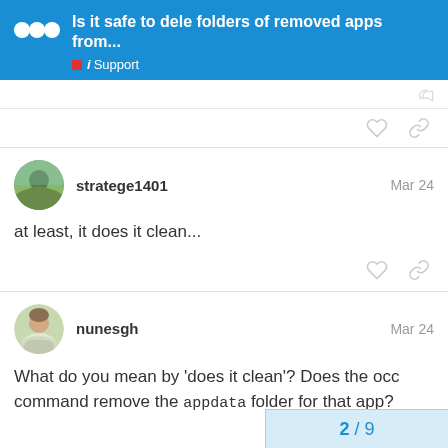Is it safe to dele folders of removed apps from... i Support
at least, it does it clean...
What do you mean by 'does it clean'? Does the occ command remove the appdata folder for that app?
2 / 9